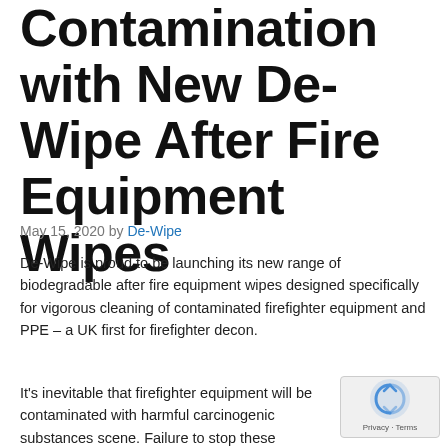Contamination with New De-Wipe After Fire Equipment Wipes
May 15, 2020 by De-Wipe
De-Wipe is proud to be launching its new range of biodegradable after fire equipment wipes designed specifically for vigorous cleaning of contaminated firefighter equipment and PPE – a UK first for firefighter decon.
It's inevitable that firefighter equipment will be contaminated with harmful carcinogenic substances scene. Failure to stop these hazardous substances